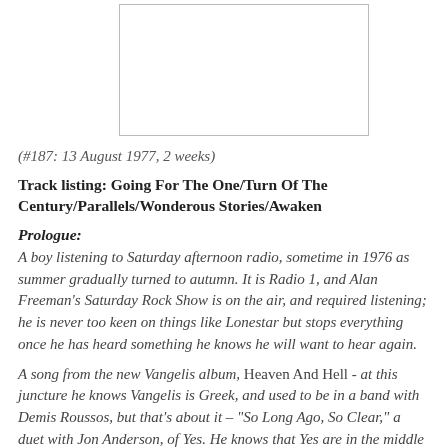[Figure (other): Album cover image placeholder (white rectangle with border)]
(#187: 13 August 1977, 2 weeks)
Track listing: Going For The One/Turn Of The Century/Parallels/Wonderous Stories/Awaken
Prologue:
A boy listening to Saturday afternoon radio, sometime in 1976 as summer gradually turned to autumn. It is Radio 1, and Alan Freeman's Saturday Rock Show is on the air, and required listening; he is never too keen on things like Lonestar but stops everything once he has heard something he knows he will want to hear again.
A song from the new Vangelis album, Heaven And Hell - at this juncture he knows Vangelis is Greek, and used to be in a band with Demis Roussos, but that's about it – "So Long Ago, So Clear," a duet with Jon Anderson, of Yes. He knows that Yes are in the middle of a longish sabbatical, and that